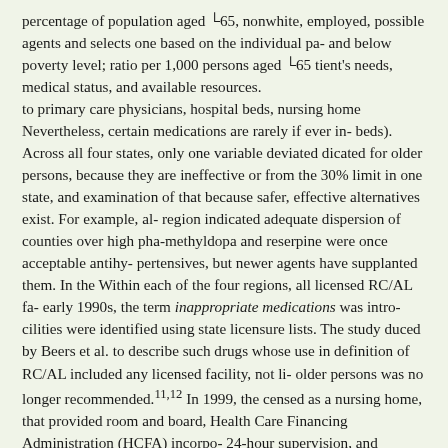percentage of population aged ∟65, nonwhite, employed, possible agents and selects one based on the individual pa- and below poverty level; ratio per 1,000 persons aged ∟65 tient's needs, medical status, and available resources. to primary care physicians, hospital beds, nursing home Nevertheless, certain medications are rarely if ever in- beds). Across all four states, only one variable deviated dicated for older persons, because they are ineffective or from the 30% limit in one state, and examination of that because safer, effective alternatives exist. For example, al- region indicated adequate dispersion of counties over high pha-methyldopa and reserpine were once acceptable antihy- pertensives, but newer agents have supplanted them. In the Within each of the four regions, all licensed RC/AL fa- early 1990s, the term inappropriate medications was intro- cilities were identified using state licensure lists. The study duced by Beers et al. to describe such drugs whose use in definition of RC/AL included any licensed facility, not li- older persons was no longer recommended.11,12 In 1999, the censed as a nursing home, that provided room and board, Health Care Financing Administration (HCFA) incorpo- 24-hour supervision, and assistance with